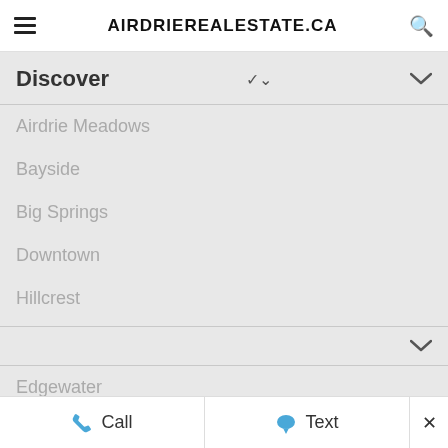AirdrieRealEstate.ca
Discover
Airdrie Meadows
Bayside
Big Springs
Downtown
Hillcrest
Edgewater
Call   Text